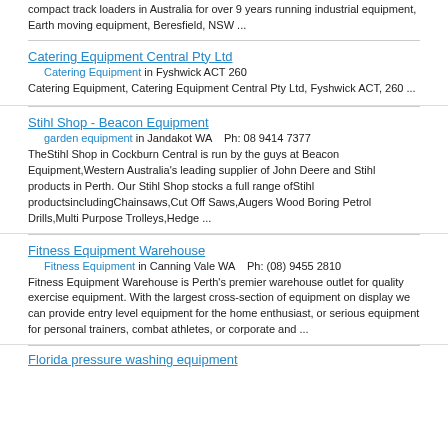compact track loaders in Australia for over 9 years running industrial equipment, Earth moving equipment, Beresfield, NSW ...
Catering Equipment Central Pty Ltd — Catering Equipment in Fyshwick ACT 260 — Catering Equipment, Catering Equipment Central Pty Ltd, Fyshwick ACT, 260 ...
Stihl Shop - Beacon Equipment — garden equipment in Jandakot WA  Ph: 08 9414 7377 — TheStihl Shop in Cockburn Central is run by the guys at Beacon Equipment,Western Australia's leading supplier of John Deere and Stihl products in Perth. Our Stihl Shop stocks a full range ofStihl productsincludingChainsaws,Cut Off Saws,Augers Wood Boring Petrol Drills,Multi Purpose Trolleys,Hedge ...
Fitness Equipment Warehouse — Fitness Equipment in Canning Vale WA  Ph: (08) 9455 2810 — Fitness Equipment Warehouse is Perth's premier warehouse outlet for quality exercise equipment. With the largest cross-section of equipment on display we can provide entry level equipment for the home enthusiast, or serious equipment for personal trainers, combat athletes, or corporate and ...
Florida pressure washing equipment